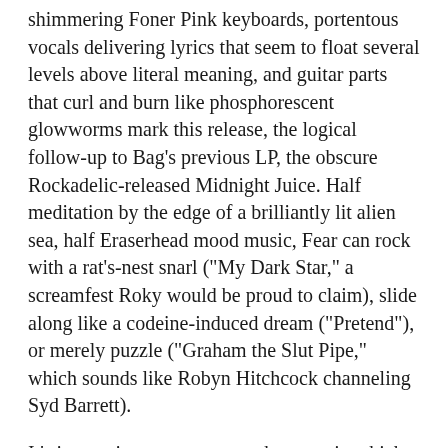shimmering Foner Pink keyboards, portentous vocals delivering lyrics that seem to float several levels above literal meaning, and guitar parts that curl and burn like phosphorescent glowworms mark this release, the logical follow-up to Bag's previous LP, the obscure Rockadelic-released Midnight Juice. Half meditation by the edge of a brilliantly lit alien sea, half Eraserhead mood music, Fear can rock with a rat's-nest snarl ("My Dark Star," a screamfest Roky would be proud to claim), slide along like a codeine-induced dream ("Pretend"), or merely puzzle ("Graham the Slut Pipe," which sounds like Robyn Hitchcock channeling Syd Barrett).
It's interesting to muse upon the ways in which certain forms of rock and jazz are both reaching in the same direction, toward the exploration of found sounds and noise as music. Listen to Fear, then a work like David Torn's What Means Solid, Traveler? and count the times one reminds you of the other. If you celebrated when Easter Everywhere was reissued on CD, put on your